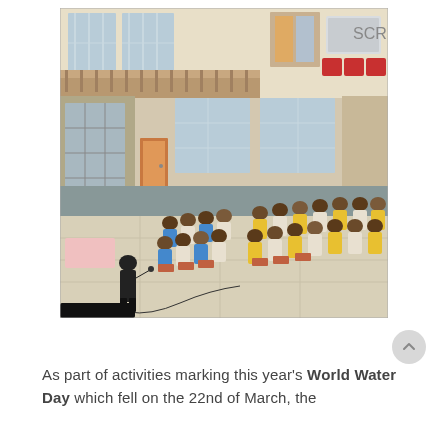[Figure (photo): A speaker stands at the front of a large hall addressing rows of students seated in chairs. Students are dressed in school uniforms — blue/white and yellow outfits. The hall has large windows, ceiling fans, and a mezzanine level visible at the back with stained glass windows and a screen.]
As part of activities marking this year's World Water Day which fell on the 22nd of March, the